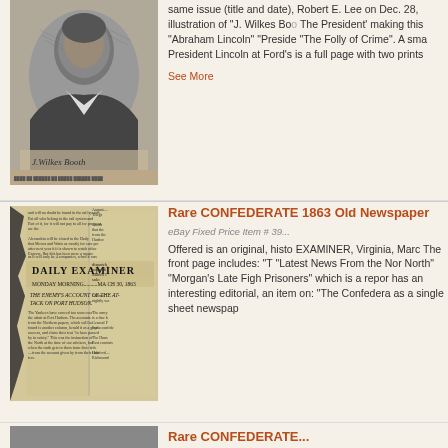[Figure (photo): Portrait illustration of J. Wilkes Booth with signature below, from a historical newspaper page]
same issue (title and date), Robert E. Lee on Dec. 28, illustration of "J. Wilkes Bo... The President' making this "Abraham Lincoln" "Preside... "The Folly of Crime". A sma... President Lincoln at Ford's is a full page with two prints
See More
[Figure (photo): Photo of the front page of the Daily Examiner newspaper, a Confederate newspaper from Virginia, March 1863]
Rare CONFEDERATE 1863 Old Newspaper
eBay Fixed Price Item # 39...
Offered is an original, histo... EXAMINER, Virginia, Marc... The front page includes: "T... "Latest News From the Nor... North" "Morgan's Late Figh... Prisoners" which is a repor... has an interesting editorial, an item on: "The Confedera... as a single sheet newspap...
[Figure (photo): Partial view of another Confederate newspaper listing at the bottom of the page]
Rare CONFEDERATE...